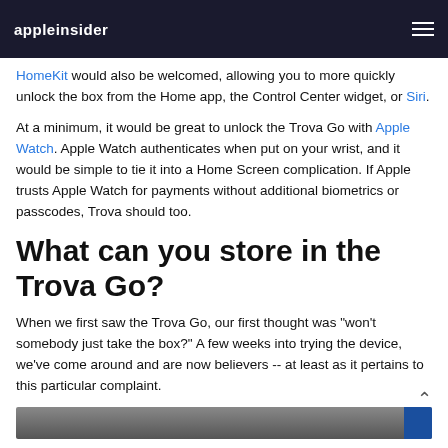appleinsider
HomeKit would also be welcomed, allowing you to more quickly unlock the box from the Home app, the Control Center widget, or Siri.
At a minimum, it would be great to unlock the Trova Go with Apple Watch. Apple Watch authenticates when put on your wrist, and it would be simple to tie it into a Home Screen complication. If Apple trusts Apple Watch for payments without additional biometrics or passcodes, Trova should too.
What can you store in the Trova Go?
When we first saw the Trova Go, our first thought was "won't somebody just take the box?" A few weeks into trying the device, we've come around and are now believers -- at least as it pertains to this particular complaint.
[Figure (photo): Bottom cropped photo strip, dark tones with blue accent on right edge]